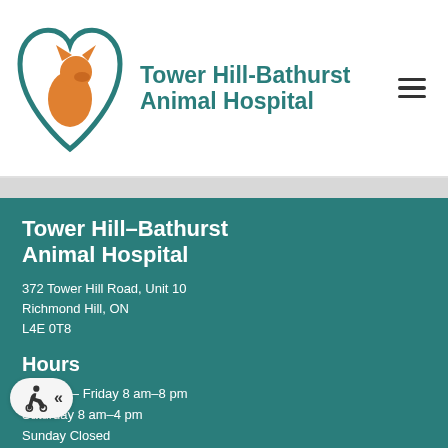[Figure (logo): Tower Hill-Bathurst Animal Hospital logo: teal heart shape with orange dog/cat silhouette inside, with text 'Tower Hill-Bathurst Animal Hospital' in teal bold font to the right]
Tower Hill-Bathurst Animal Hospital
372 Tower Hill Road, Unit 10
Richmond Hill, ON
L4E 0T8
Hours
Monday – Friday 8 am–8 pm
Saturday 8 am–4 pm
Sunday Closed